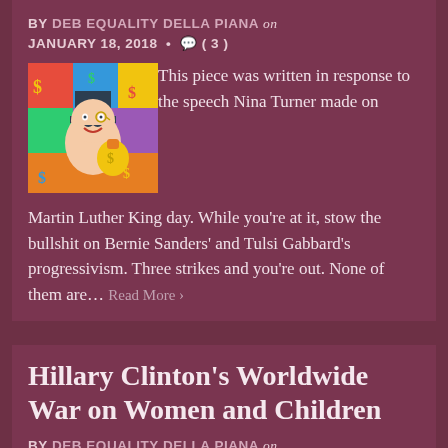BY DEB EQUALITY DELLA PIANA on JANUARY 18, 2018 • 💬 ( 3 )
[Figure (illustration): Colorful illustrated image featuring a Monopoly-style cartoon character in a top hat holding a money bag, surrounded by bright colors and dollar signs]
This piece was written in response to the speech Nina Turner made on Martin Luther King day. While you're at it, stow the bullshit on Bernie Sanders' and Tulsi Gabbard's progressivism. Three strikes and you're out. None of them are… Read More ›
Hillary Clinton's Worldwide War on Women and Children
BY DEB EQUALITY DELLA PIANA on DECEMBER…